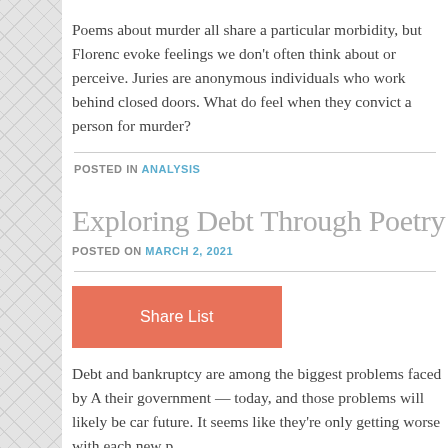Poems about murder all share a particular morbidity, but Florence evoke feelings we don't often think about or perceive. Juries are anonymous individuals who work behind closed doors. What do feel when they convict a person for murder?
POSTED IN ANALYSIS
Exploring Debt Through Poetry
POSTED ON MARCH 2, 2021
[Figure (other): Orange/coral colored button labeled 'Share List']
Debt and bankruptcy are among the biggest problems faced by A their government — today, and those problems will likely be car future. It seems like they're only getting worse with each new p